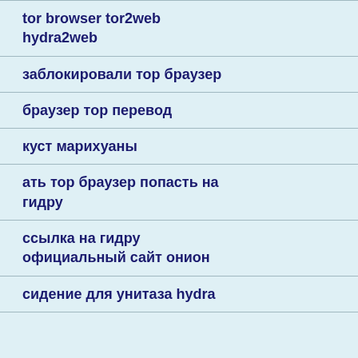tor browser tor2web hydra2web
заблокировали тор браузер
браузер тор перевод
куст марихуаны
ать тор браузер попасть на гидру
ссылка на гидру официальный сайт онион
сидение для унитаза hydra